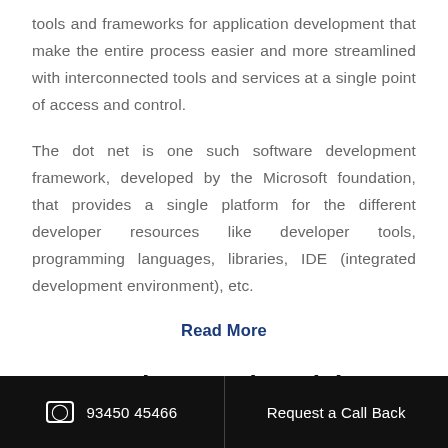tools and frameworks for application development that make the entire process easier and more streamlined with interconnected tools and services at a single point of access and control.
The dot net is one such software development framework, developed by the Microsoft foundation, that provides a single platform for the different developer resources like developer tools, programming languages, libraries, IDE (integrated development environment), etc.
Read More
Student Testimonials
📱 93450 45466   Request a Call Back